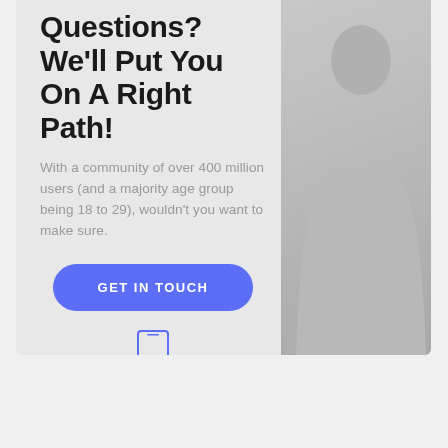Questions? We'll Put You On A Right Path!
With a community of over 400 million users (and a majority age group being 18 to 29), wouldn't you want to make sure.
GET IN TOUCH
[Figure (illustration): Phone/mobile device icon]
+800 1234 56 78